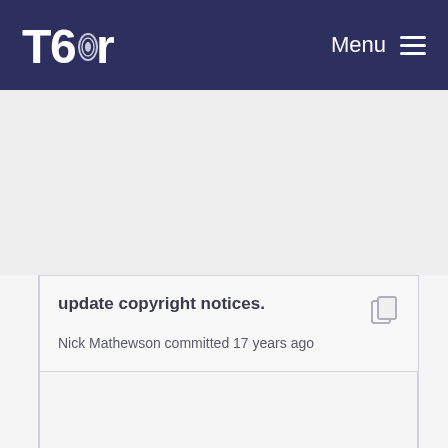Tor — Menu
update copyright notices.
Nick Mathewson committed 17 years ago